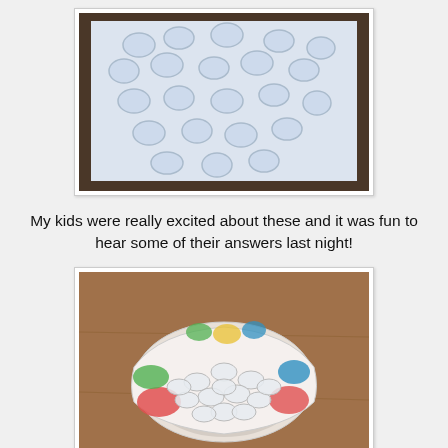[Figure (photo): Top-down photo of multiple clear glass flat marbles/gems scattered on a white piece of paper on a dark wooden surface. The glass pieces are transparent and oval/circular shaped.]
My kids were really excited about these and it was fun to hear some of their answers last night!
[Figure (photo): Photo of a colorful handmade clay or paper-mache bowl (painted with red, green, yellow, blue colors) filled with many small oval glass gems/marbles with text printed on them, sitting on a wooden surface.]